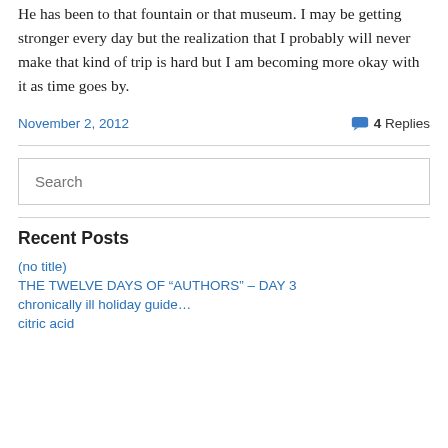He has been to that fountain or that museum. I may be getting stronger every day but the realization that I probably will never make that kind of trip is hard but I am becoming more okay with it as time goes by.
November 2, 2012   4 Replies
[Figure (other): Search input box with placeholder text 'Search']
Recent Posts
(no title)
THE TWELVE DAYS OF “AUTHORS” – DAY 3
chronically ill holiday guide…
citric acid